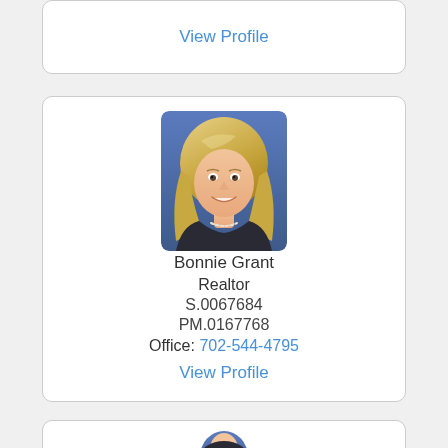View Profile
[Figure (photo): Portrait photo of Bonnie Grant, a woman with blonde hair, smiling, wearing dark clothing, against a blue background.]
Bonnie Grant
Realtor
S.0067684
PM.0167768
Office: 702-544-4795
View Profile